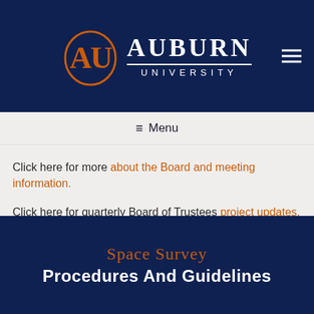[Figure (logo): Auburn University logo with AU monogram in orange/navy and text 'AUBURN UNIVERSITY']
Menu
Click here for more about the Board and meeting information.
Click here for quarterly Board of Trustees project updates.
Space Survey
Procedures And Guidelines